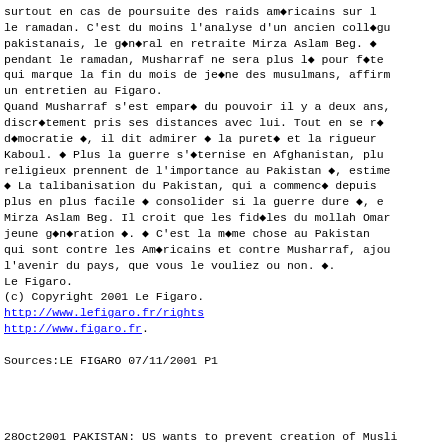surtout en cas de poursuite des raids américains sur l le ramadan. C'est du moins l'analyse d'un ancien collègu pakistanais, le général en retraite Mirza Aslam Beg. pendant le ramadan, Musharraf ne sera plus là pour fêt qui marque la fin du mois de jeûne des musulmans, affirm un entretien au Figaro.
Quand Musharraf s'est emparé du pouvoir il y a deux ans, discrètement pris ses distances avec lui. Tout en se ré démocratie ◆, il dit admirer ◆ la pureté et la rigueur Kaboul. ◆ Plus la guerre s'éternise en Afghanistan, plu religieux prennent de l'importance au Pakistan ◆, estime ◆ La talibanisation du Pakistan, qui a commencé depuis plus en plus facile ◆ consolider si la guerre dure ◆, e Mirza Aslam Beg. Il croit que les fidèles du mollah Omar jeune génération ◆. ◆ C'est la même chose au Pakistan qui sont contre les Américains et contre Musharraf, ajou l'avenir du pays, que vous le vouliez ou non. ◆.
Le Figaro.
(c) Copyright 2001 Le Figaro.
http://www.lefigaro.fr/rights
http://www.figaro.fr.
Sources:LE FIGARO 07/11/2001 P1
28Oct2001 PAKISTAN: US wants to prevent creation of Musli Aslam Beg.